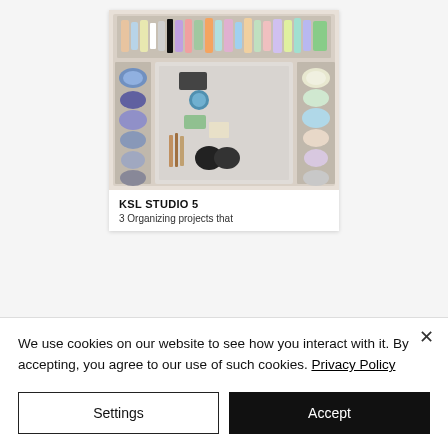[Figure (photo): Overhead view of an organized makeup/beauty drawer with clear acrylic organizers containing colorful products — nail polishes, skincare bottles, makeup brushes, compacts — neatly sorted in compartments.]
KSL STUDIO 5
3 Organizing projects that
We use cookies on our website to see how you interact with it. By accepting, you agree to our use of such cookies. Privacy Policy
Settings
Accept